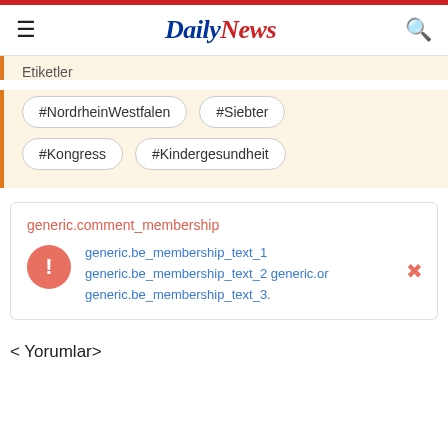DailyNews
Etiketler
#NordrheinWestfalen
#Siebter
#Kongress
#Kindergesundheit
generic.comment_membership
generic.be_membership_text_1 generic.be_membership_text_2 generic.or generic.be_membership_text_3.
< Yorumlar>